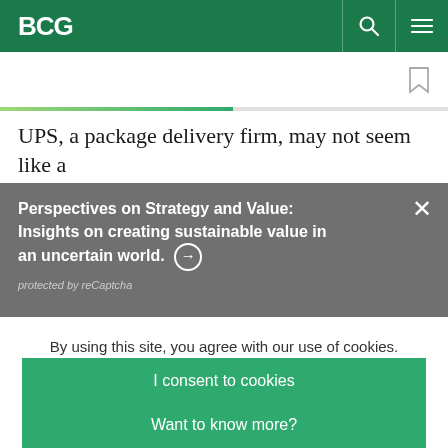BCG
UPS, a package delivery firm, may not seem like a
Perspectives on Strategy and Value: Insights on creating sustainable value in an uncertain world. → protected by reCaptcha
By using this site, you agree with our use of cookies.
I consent to cookies
Want to know more?
Read our Cookie Policy